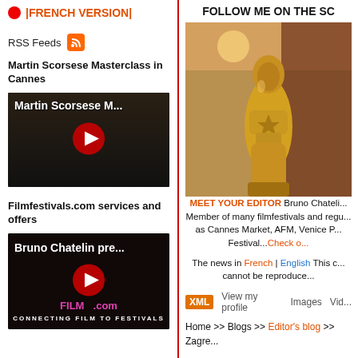|FRENCH VERSION|
RSS Feeds
Martin Scorsese Masterclass in Cannes
[Figure (screenshot): Video thumbnail for Martin Scorsese Masterclass with play button overlay]
Filmfestivals.com services and offers
[Figure (screenshot): Video thumbnail for Bruno Chatelin Filmfestivals.com with play button and logo]
FOLLOW ME ON THE SC
[Figure (photo): Golden Oscar statue at what appears to be the Cannes film festival]
MEET YOUR EDITOR Bruno Chateli... Member of many filmfestivals and regu... as Cannes Market, AFM, Venice P... Festival...Check o...
The news in French | English This c... cannot be reproduce...
XML View my profile   Images   Vid...
Home >> Blogs >> Editor's blog >> Zagre...